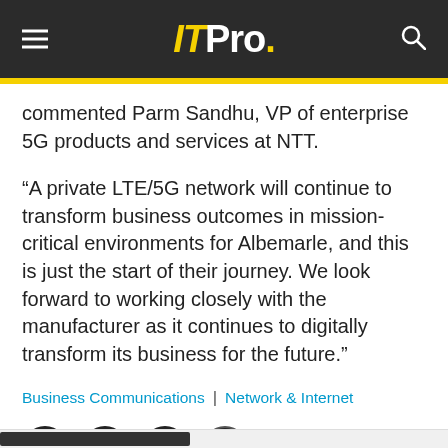IT Pro.
commented Parm Sandhu, VP of enterprise 5G products and services at NTT.
“A private LTE/5G network will continue to transform business outcomes in mission-critical environments for Albemarle, and this is just the start of their journey. We look forward to working closely with the manufacturer as it continues to digitally transform its business for the future.”
Business Communications | Network & Internet
[Figure (other): Social sharing icons: Facebook, Twitter, LinkedIn, Email]